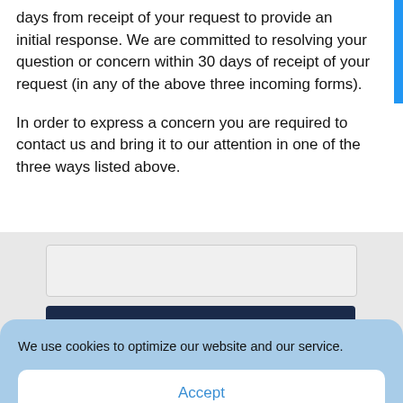days from receipt of your request to provide an initial response. We are committed to resolving your question or concern within 30 days of receipt of your request (in any of the above three incoming forms).
In order to express a concern you are required to contact us and bring it to our attention in one of the three ways listed above.
[Figure (screenshot): Input field (empty, light gray background) and a dark navy banner partially showing text 'Get Your Free Copy of How to Be...']
We use cookies to optimize our website and our service.
Accept